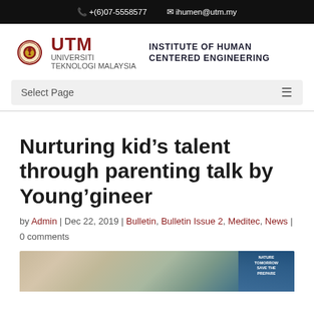+(6)07-5558577   ihumen@utm.my
[Figure (logo): UTM (Universiti Teknologi Malaysia) logo with circular emblem and text, alongside INSTITUTE OF HUMAN CENTERED ENGINEERING]
Select Page
Nurturing kid’s talent through parenting talk by Young’gineer
by Admin | Dec 22, 2019 | Bulletin, Bulletin Issue 2, Meditec, News | 0 comments
[Figure (photo): Partial view of a photo showing a parenting talk event with banners visible on the right side]